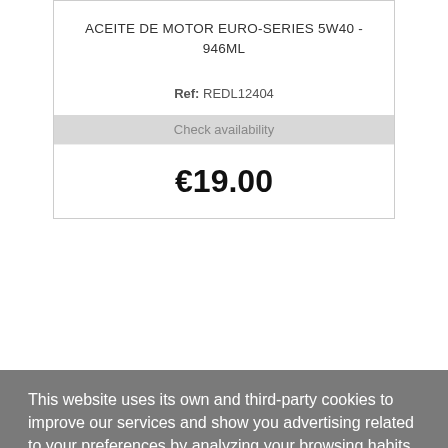ACEITE DE MOTOR EURO-SERIES 5W40 - 946ML
Ref: REDL12404
Check availability
€19.00
This website uses its own and third-party cookies to improve our services and show you advertising related to your preferences by analyzing your browsing habits. To give your consent to its use, press the Accept button.
More information  customize cookies
I ACCEPT